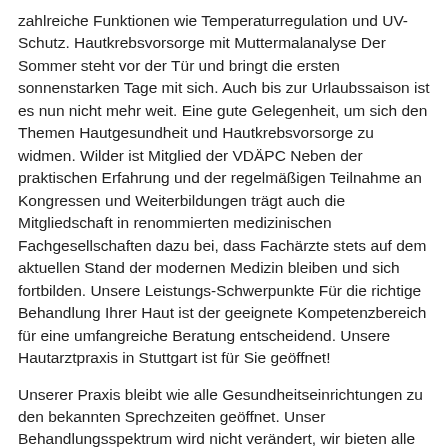zahlreiche Funktionen wie Temperaturregulation und UV-Schutz. Hautkrebsvorsorge mit Muttermalanalyse Der Sommer steht vor der Tür und bringt die ersten sonnenstarken Tage mit sich. Auch bis zur Urlaubssaison ist es nun nicht mehr weit. Eine gute Gelegenheit, um sich den Themen Hautgesundheit und Hautkrebsvorsorge zu widmen. Wilder ist Mitglied der VDÄPC Neben der praktischen Erfahrung und der regelmäßigen Teilnahme an Kongressen und Weiterbildungen trägt auch die Mitgliedschaft in renommierten medizinischen Fachgesellschaften dazu bei, dass Fachärzte stets auf dem aktuellen Stand der modernen Medizin bleiben und sich fortbilden. Unsere Leistungs-Schwerpunkte Für die richtige Behandlung Ihrer Haut ist der geeignete Kompetenzbereich für eine umfangreiche Beratung entscheidend. Unsere Hautarztpraxis in Stuttgart ist für Sie geöffnet!
Unserer Praxis bleibt wie alle Gesundheitseinrichtungen zu den bekannten Sprechzeiten geöffnet. Unser Behandlungsspektrum wird nicht verändert, wir bieten alle unsere Leistungen uneingeschränkt an. Wir haben einen erweiterten Desinfektionsplan, alle Oberflächen werden nach jedem Patient und zusätzlich stündlich desinfiziert, ebenso wird der Luftaustausch auf das Maximale erhöht. Um die Distanzregeln einzuhalten, haben wir im Wartebereich und in den Sprechzimmern die Stühle auseinandergestellt. Es finden sich